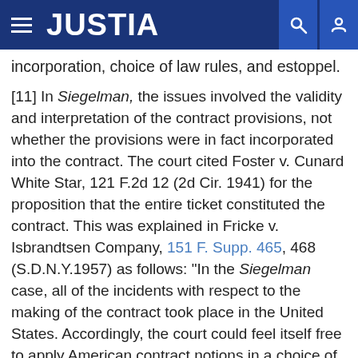JUSTIA
incorporation, choice of law rules, and estoppel.
[11] In Siegelman, the issues involved the validity and interpretation of the contract provisions, not whether the provisions were in fact incorporated into the contract. The court cited Foster v. Cunard White Star, 121 F.2d 12 (2d Cir. 1941) for the proposition that the entire ticket constituted the contract. This was explained in Fricke v. Isbrandtsen Company, 151 F. Supp. 465, 468 (S.D.N.Y.1957) as follows: "In the Siegelman case, all of the incidents with respect to the making of the contract took place in the United States. Accordingly, the court could feel itself free to apply American contract notions in a choice of law context. This it did, supporting its finding of a contract and therefore a binding choice of law provision by an earlier case [Foster] which held a steamship ticket to be a contract as a matter of substantive law." (footnote omitted). See also Janson